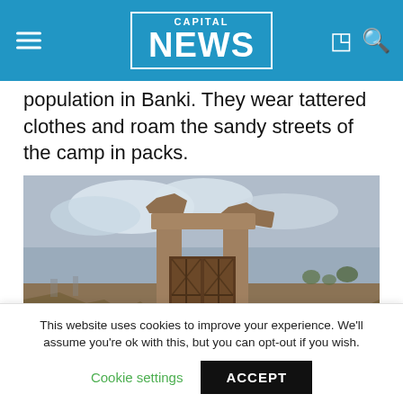CAPITAL NEWS
population in Banki. They wear tattered clothes and roam the sandy streets of the camp in packs.
[Figure (photo): A ruined concrete doorframe/gate structure standing amid rubble and debris in a destroyed town, with overcast sky in the background. Remnants of destroyed buildings visible around the structure.]
This website uses cookies to improve your experience. We'll assume you're ok with this, but you can opt-out if you wish.
Cookie settings   ACCEPT